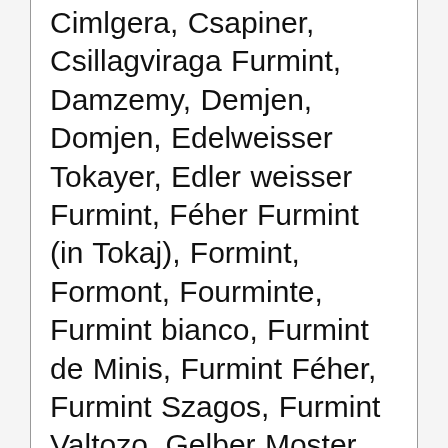Cimlgera, Csapiner, Csillagviraga Furmint, Damzemy, Demjen, Domjen, Edelweisser Tokayer, Edler weisser Furmint, Féher Furmint (in Tokaj), Formint, Formont, Fourminte, Furmint bianco, Furmint de Minis, Furmint Féher, Furmint Szagos, Furmint Valtozo, Gelber Moster, Gemeiner, Görgeny, Görin, Goher Féher, Gorin, Grasă de Cotnari, Holyagos Furmint, Jardanszki Furmint, Keknyelü, Keresztesevelu Furmint, Kiraly Furmint, Krhkopetec, Lazafürtű Furmint (in Tokaj), Ligetes Furmint, Luttenberger, Madarkas Furmint, Mainak, Maljak, Malmsey, Malnik, Malvasia verde, Malvoisie verte, Malzak, Makhvica, Mascuyna...